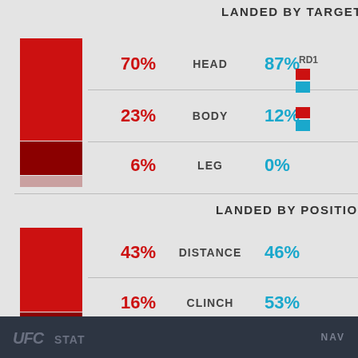LANDED BY TARGET
[Figure (stacked-bar-chart): Landed By Target]
LANDED BY POSITION
[Figure (stacked-bar-chart): Landed By Position]
UFC STATS   NAV